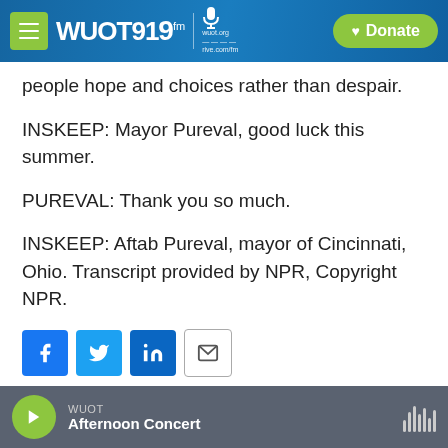WUOT 91.9 FM | wuot.org | Donate
people hope and choices rather than despair.
INSKEEP: Mayor Pureval, good luck this summer.
PUREVAL: Thank you so much.
INSKEEP: Aftab Pureval, mayor of Cincinnati, Ohio. Transcript provided by NPR, Copyright NPR.
[Figure (other): Social sharing buttons: Facebook, Twitter, LinkedIn, Email]
WUOT — Afternoon Concert (player bar)